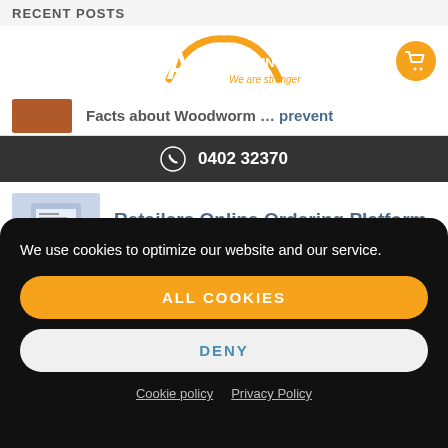RECENT POSTS
[Figure (logo): ARC Building Products logo with tagline 'We are stronger']
Facts about Woodworm … prevent
0402 32370
Retailers Online Ordering Platform
MPS Cutting Blades
We use cookies to optimize our website and our service.
ALL COOKIES
DENY
Cookie policy   Privacy Policy